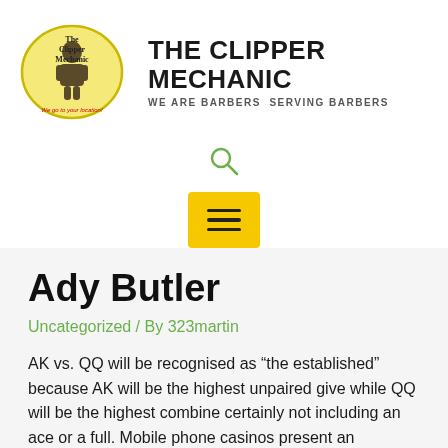[Figure (logo): The Clipper Mechanic oval logo with barber figure and red tagline 'We go to your location!']
THE CLIPPER MECHANIC
WE ARE BARBERS SERVING BARBERS
[Figure (other): Search icon (magnifying glass)]
[Figure (other): Yellow hamburger menu button]
Ady Butler
Uncategorized / By 323martin
AK vs. QQ will be recognised as “the established” because AK will be the highest unpaired give while QQ will be the highest combine certainly not including an ace or a full. Mobile phone casinos present an important a lot of of different deals and pay outs varying present in the levels